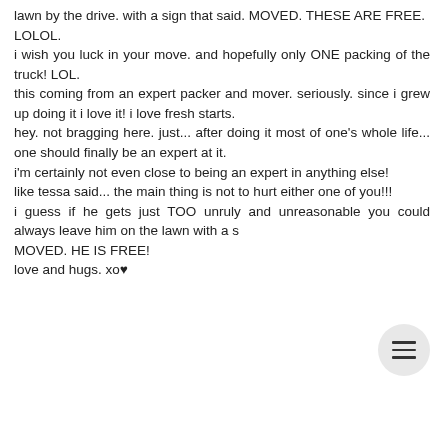lawn by the drive. with a sign that said. MOVED. THESE ARE FREE.
LOLOL.
i wish you luck in your move. and hopefully only ONE packing of the truck! LOL.
this coming from an expert packer and mover. seriously. since i grew up doing it i love it! i love fresh starts.
hey. not bragging here. just... after doing it most of one's whole life... one should finally be an expert at it.
i'm certainly not even close to being an expert in anything else!
like tessa said... the main thing is not to hurt either one of you!!!
i guess if he gets just TOO unruly and unreasonable you could always leave him on the lawn with a sign. MOVED. HE IS FREE!
love and hugs. xo♥